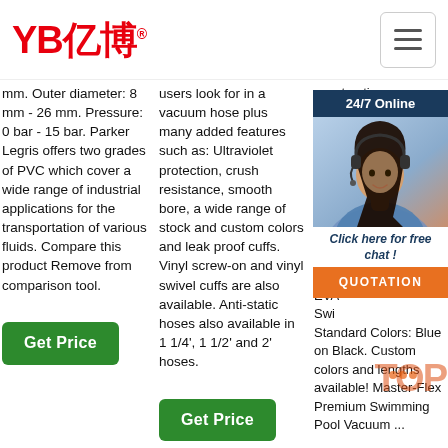YB亿博® [hamburger menu]
mm. Outer diameter: 8 mm - 26 mm. Pressure: 0 bar - 15 bar. Parker Legris offers two grades of PVC which cover a wide range of industrial applications for the transportation of various fluids. Compare this product Remove from comparison tool.
users look for in a vacuum hose plus many added features such as: Ultraviolet protection, crush resistance, smooth bore, a wide range of stock and custom colors and leak proof cuffs. Vinyl screw-on and vinyl swivel cuffs are also available. Anti-static hoses also available in 1 1/4', 1 1/2' and 2' hoses.
construction. flex pro airti des Agu des resi own Flex with EVA Swi Standard Colors: Blue on Black. Custom colors and lengths available! Master-Flex Premium Swimming Pool Vacuum ...
[Figure (photo): 24/7 Online chat widget with woman wearing headset, dark blue background header, white background chat message area, orange QUOTATION button]
Get Price
Get Price